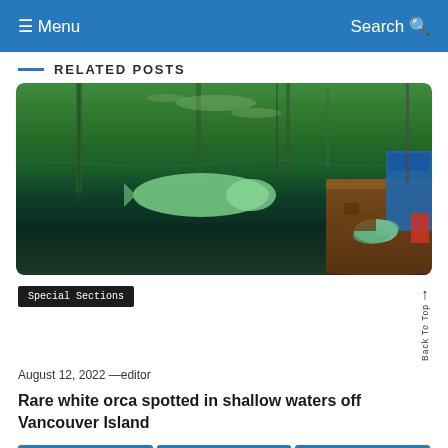≡ Menu    Search 🔍
RELATED POSTS
[Figure (photo): Photo of a white/beluga whale or rare white orca visible just below the water surface in green-tinted water near a wooden boat with ropes and equipment, with tree reflections in the background.]
Special Sections
August 12, 2022 —editor
Rare white orca spotted in shallow waters off Vancouver Island